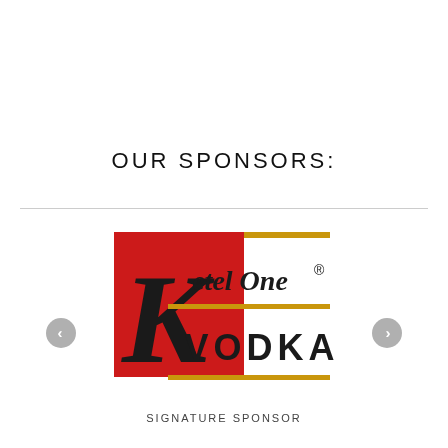OUR SPONSORS:
[Figure (logo): Ketel One Vodka logo - red square with stylized black K and 'Ketel One' text, gold horizontal bars, VODKA text below]
SIGNATURE SPONSOR